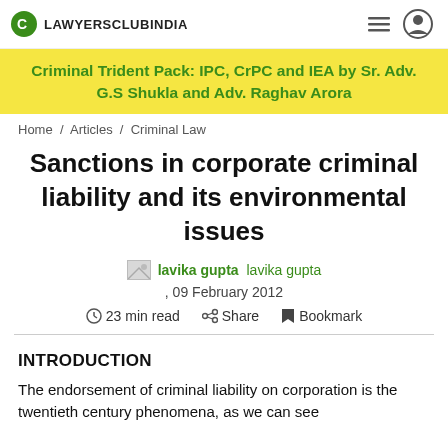LAWYERSCLUBINDIA
Criminal Trident Pack: IPC, CrPC and IEA by Sr. Adv. G.S Shukla and Adv. Raghav Arora
Home / Articles / Criminal Law
Sanctions in corporate criminal liability and its environmental issues
lavika gupta lavika gupta
, 09 February 2012
23 min read   Share   Bookmark
INTRODUCTION
The endorsement of criminal liability on corporation is the twentieth century phenomena, as we can see